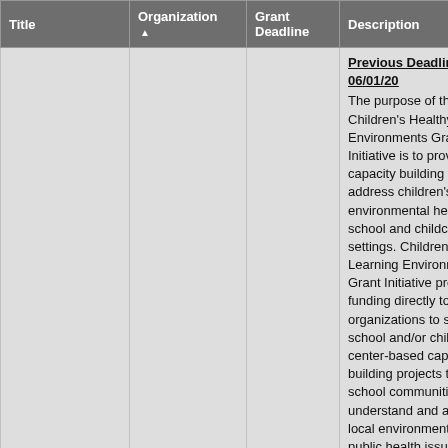| Title | Organization ▲ | Grant Deadline | Description |
| --- | --- | --- | --- |
|  |  |  | Previous Deadline: 06/01/20
The purpose of the Children's Healthy Learning Environments Grant Initiative is to provide capacity building to address children's environmental health in school and childcare settings. Children's Healthy Learning Environments Grant Initiative provides funding directly to organizations to support school and/or childcare center-based capacity building projects that help school communities understand and address local environmental and public health issues that affect children. Capacity building projects are projects that improve the organization's long-term effectiveness and sustainability through management practices, implementation, and dedication |